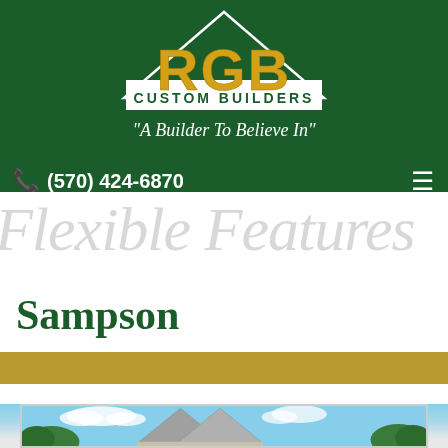[Figure (logo): RGB Custom Builders logo with gold letters RGB inside a white triangle outline on dark green background, with text CUSTOM BUILDERS below and tagline A Builder To Believe In]
(570) 424-6870
Flexible Features
Sampson
[Figure (photo): Partial view of a house exterior with roof gable visible against a blue sky with clouds and green trees in background]